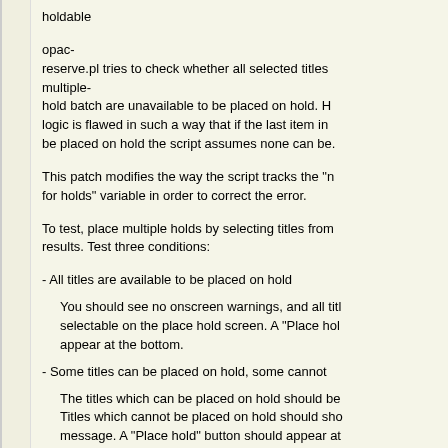holdable
opac-reserve.pl tries to check whether all selected titles multiple-hold batch are unavailable to be placed on hold. However, the logic is flawed in such a way that if the last item in batch cannot be placed on hold the script assumes none can be.
This patch modifies the way the script tracks the "not available for holds" variable in order to correct the error.
To test, place multiple holds by selecting titles from search results. Test three conditions:
- All titles are available to be placed on hold
You should see no onscreen warnings, and all titles should be selectable on the place hold screen. A "Place hold" button should appear at the bottom.
- Some titles can be placed on hold, some cannot
The titles which can be placed on hold should be selectable. Titles which cannot be placed on hold should show an error message. A "Place hold" button should appear at
- No titles can be placed on hold
"Sorry, none of these items can be placed on hold